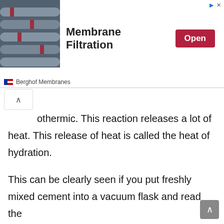[Figure (screenshot): Advertisement banner for Berghof Membranes featuring Membrane Filtration with an industrial pipes photo, an Open button, and the Berghof Membranes brand name with flag icon.]
othermic. This reaction releases a lot of heat. This release of heat is called the heat of hydration.
This can be clearly seen if you put freshly mixed cement into a vacuum flask and read the mass temperature intermittently. The heat of hydration has become important in the construction of concrete dams and other mass concrete structures.
It has been observed that the temperature